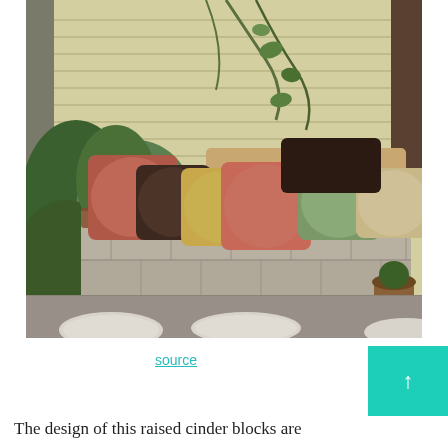[Figure (photo): Outdoor cinder block bench with colorful cushions and pillows in terracotta, dark brown, tan/gold, salmon/red, sage green, and light tan colors. Bench is made of stacked gray cinder blocks with a brown cushion on top. Background shows a yellow/cream horizontal siding wall with climbing vines and green plants. Gravel ground with circular stepping stones in foreground.]
source
The design of this raised cinder blocks are